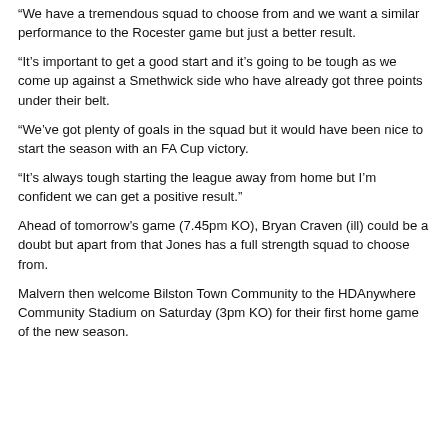“We have a tremendous squad to choose from and we want a similar performance to the Rocester game but just a better result.
“It’s important to get a good start and it’s going to be tough as we come up against a Smethwick side who have already got three points under their belt.
“We’ve got plenty of goals in the squad but it would have been nice to start the season with an FA Cup victory.
“It’s always tough starting the league away from home but I’m confident we can get a positive result.”
Ahead of tomorrow’s game (7.45pm KO), Bryan Craven (ill) could be a doubt but apart from that Jones has a full strength squad to choose from.
Malvern then welcome Bilston Town Community to the HDAnywhere Community Stadium on Saturday (3pm KO) for their first home game of the new season.